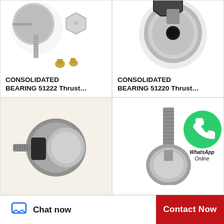[Figure (photo): Photo of CONSOLIDATED BEARING 51222 thrust bearing components: a cam follower bolt, a large hex nut, and two small brass fittings on white background]
CONSOLIDATED BEARING 51222 Thrust…
[Figure (photo): Photo of CONSOLIDATED BEARING 51220 thrust bearing: a cam follower with threaded stud and black hex nut on white background]
CONSOLIDATED BEARING 51220 Thrust…
[Figure (photo): Photo of a cam follower bearing with needle roller cage visible, mounted on a beige background]
[Figure (photo): Photo of a cam follower bearing with long threaded stud on white background]
[Figure (infographic): WhatsApp contact bubble with green circle and phone icon, with text 'WhatsApp' and 'Online']
Chat now
Contact Now